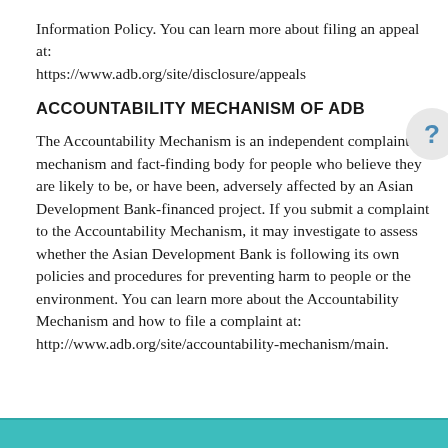Information Policy. You can learn more about filing an appeal at: https://www.adb.org/site/disclosure/appeals
ACCOUNTABILITY MECHANISM OF ADB
The Accountability Mechanism is an independent complaint mechanism and fact-finding body for people who believe they are likely to be, or have been, adversely affected by an Asian Development Bank-financed project. If you submit a complaint to the Accountability Mechanism, it may investigate to assess whether the Asian Development Bank is following its own policies and procedures for preventing harm to people or the environment. You can learn more about the Accountability Mechanism and how to file a complaint at: http://www.adb.org/site/accountability-mechanism/main.